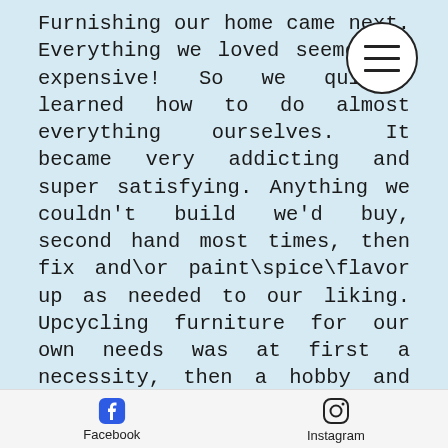Furnishing our home came next. Everything we loved seemed so expensive! So we quickly learned how to do almost everything ourselves. It became very addicting and super satisfying. Anything we couldn't build we'd buy, second hand most times, then fix and\or paint\spice\flavor up as needed to our liking. Upcycling furniture for our own needs was at first a necessity, then a hobby and now a lifestyle. Our first handmade piece is our kitchen island built from the original wood of our house. It's a character piece, it's simple, and it's one of a kind. Built from 50+ year old wood from our own home after another room renovation, that's just really cool. Since we were building or renovating\painting\fixing pieces for ourselves the quality of the project
Facebook   Instagram